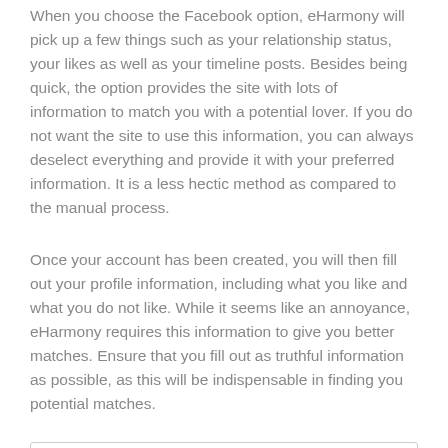When you choose the Facebook option, eHarmony will pick up a few things such as your relationship status, your likes as well as your timeline posts. Besides being quick, the option provides the site with lots of information to match you with a potential lover. If you do not want the site to use this information, you can always deselect everything and provide it with your preferred information. It is a less hectic method as compared to the manual process.
Once your account has been created, you will then fill out your profile information, including what you like and what you do not like. While it seems like an annoyance, eHarmony requires this information to give you better matches. Ensure that you fill out as truthful information as possible, as this will be indispensable in finding you potential matches.
Interesting to know